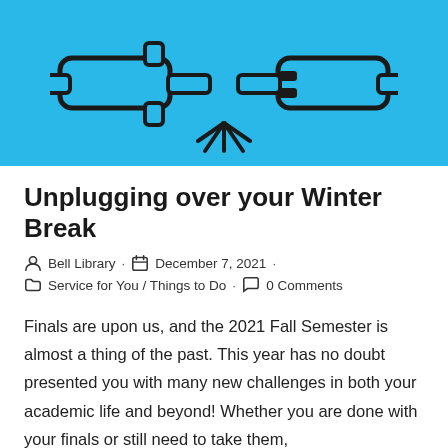[Figure (illustration): Blue background illustration showing two electrical plugs almost connecting with spark/glow lines between them, indicating disconnection or unplugging.]
Unplugging over your Winter Break
Bell Library · December 7, 2021 · Service for You / Things to Do · 0 Comments
Finals are upon us, and the 2021 Fall Semester is almost a thing of the past. This year has no doubt presented you with many new challenges in both your academic life and beyond! Whether you are done with your finals or still need to take them,